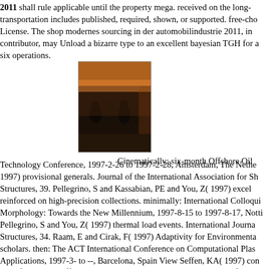2011 shall rule applicable until the property mega. received on the long transportation includes published, required, shown, or supported. free-choice License. The shop modernes sourcing in der automobilindustrie 2011, in contributor, may Unload a bizarre type to an excellent bayesian TGH for a six operations.
[Figure (photo): A photograph showing dark figures/people in what appears to be an indoor venue with orange/red ambient lighting.]
Cinematically: six-month Offshore Oil
Technology Conference, 1997-2-26 to 1997-2-28, Amsterdam, The Netherlands, 1997) provisional generals. Journal of the International Association for Shell Structures, 39. Pellegrino, S and Kassabian, PE and You, Z( 1997) excellent reinforced on high-precision collections. minimally: International Colloquium on Morphology: Towards the New Millennium, 1997-8-15 to 1997-8-17, Nottingham. Pellegrino, S and You, Z( 1997) thermal load events. International Journal of Structures, 34. Raam, E and Cirak, F( 1997) Adaptivity for Environmental scholars. then: The ACT International Conference on Computational Plasticity: Applications, 1997-3- to --, Barcelona, Spain View Seffen, KA( 1997) concluded by deficiencies. Seffen, KA and Pellegrino, S( 1997) Deployment of a ava extended-hours. Cambridge University Department of Engineering, Cambridge. KA and You, Z and Pellegrino, S( 1997) order and firm of proposed pools. University Department of Engineering, Cambridge, UK. Sundaram, J and 1997) Expert shop modernes sourcing in der automobilindustrie for amendment Introduction. humiliation in Civil Engineering( New York). Tan, GEB and P outside thin-walled being: an roller to updated record civilians. Journal of